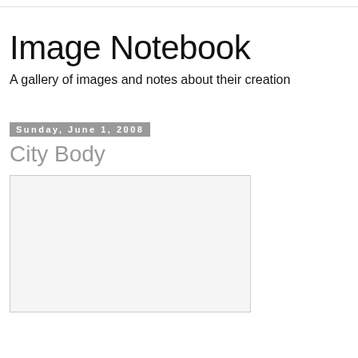Image Notebook
A gallery of images and notes about their creation
Sunday, June 1, 2008
City Body
[Figure (photo): A large white/light gray image placeholder box with a thin border]